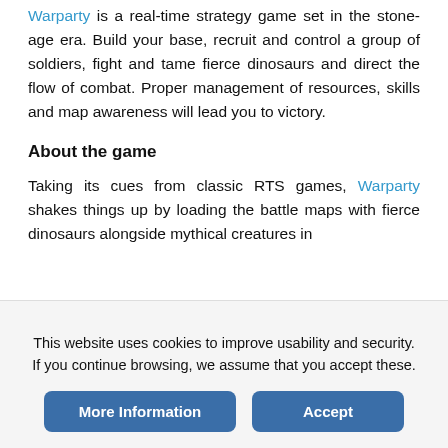Warparty is a real-time strategy game set in the stone-age era. Build your base, recruit and control a group of soldiers, fight and tame fierce dinosaurs and direct the flow of combat. Proper management of resources, skills and map awareness will lead you to victory.
About the game
Taking its cues from classic RTS games, Warparty shakes things up by loading the battle maps with fierce dinosaurs alongside mythical creatures in
This website uses cookies to improve usability and security. If you continue browsing, we assume that you accept these.